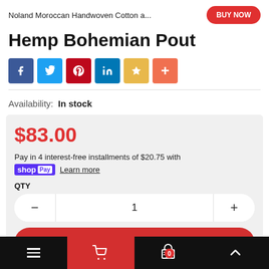Noland Moroccan Handwoven Cotton a...
Hemp Bohemian Pout
[Figure (infographic): Social share buttons: Facebook, Twitter, Pinterest, LinkedIn, Bookmark, More]
Availability:  In stock
$83.00
Pay in 4 interest-free installments of $20.75 with shop Pay  Learn more
QTY
1
ADD TO CART
Navigation bar with menu, cart, basket (0), and up arrow